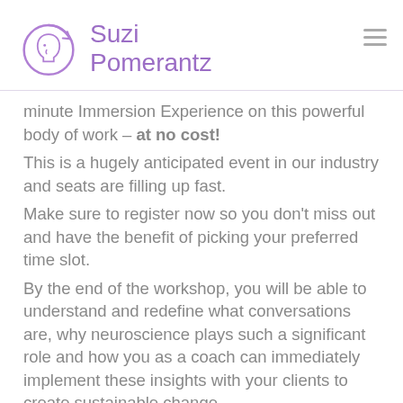Suzi Pomerantz
minute Immersion Experience on this powerful body of work – at no cost! This is a hugely anticipated event in our industry and seats are filling up fast. Make sure to register now so you don't miss out and have the benefit of picking your preferred time slot. By the end of the workshop, you will be able to understand and redefine what conversations are, why neuroscience plays such a significant role and how you as a coach can immediately implement these insights with your clients to create sustainable change.